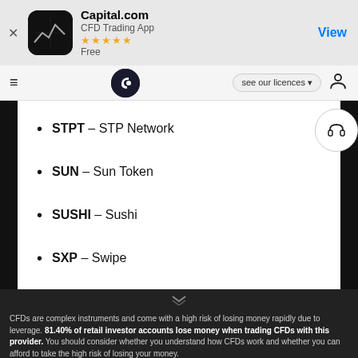[Figure (screenshot): Capital.com app store banner with app icon, name, CFD Trading App subtitle, 5 star rating, Free label, and View button]
[Figure (screenshot): Capital.com website navigation bar with hamburger menu, logo, see our licences dropdown, and user icon]
STPT – STP Network
SUN – Sun Token
SUSHI – Sushi
SXP – Swipe
CFDs are complex instruments and come with a high risk of losing money rapidly due to leverage. 81.40% of retail investor accounts lose money when trading CFDs with this provider. You should consider whether you understand how CFDs work and whether you can afford to take the high risk of losing your money.
By using the Capital.com website you agree to the use of cookies.